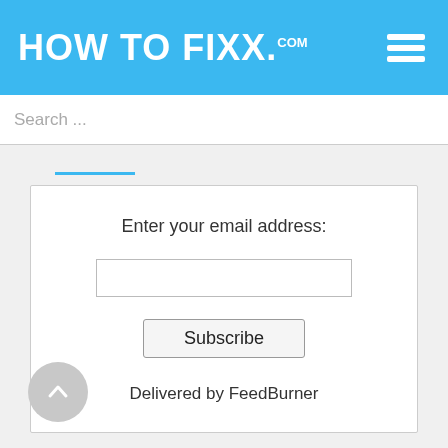HOW TO FIXX.com
Search ...
[Figure (screenshot): Email subscription form with label 'Enter your email address:', a text input box, a Subscribe button, and 'Delivered by FeedBurner' text]
[Figure (other): Scroll-to-top circular button with up arrow]